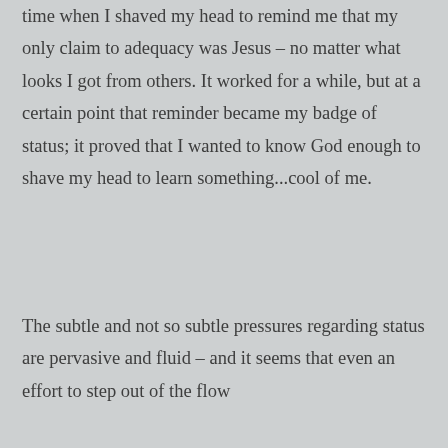time when I shaved my head to remind me that my only claim to adequacy was Jesus – no matter what looks I got from others. It worked for a while, but at a certain point that reminder became my badge of status; it proved that I wanted to know God enough to shave my head to learn something...cool of me.
The subtle and not so subtle pressures regarding status are pervasive and fluid – and it seems that even an effort to step out of the flow